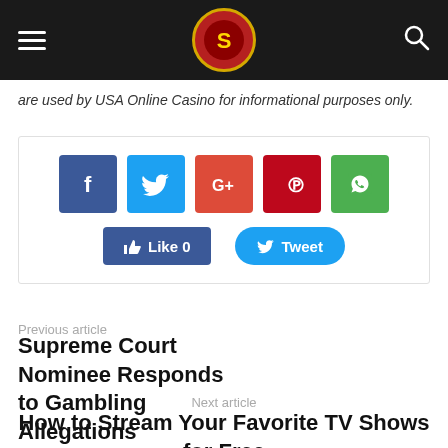USA Online Casino navigation bar with hamburger menu, logo, and search icon
are used by USA Online Casino for informational purposes only.
[Figure (screenshot): Social share buttons: Facebook, Twitter, Google+, Pinterest, WhatsApp icons; Like 0 and Tweet buttons]
Previous article
Supreme Court Nominee Responds to Gambling Allegations
Next article
How to Stream Your Favorite TV Shows for Free